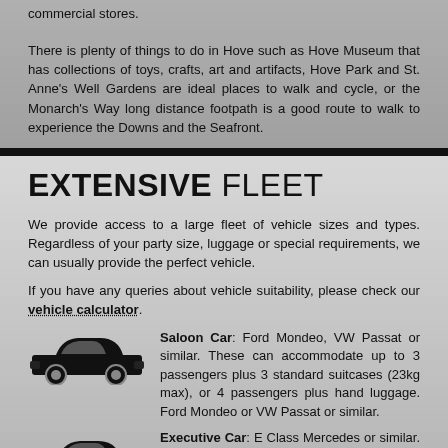commercial stores.
There is plenty of things to do in Hove such as Hove Museum that has collections of toys, crafts, art and artifacts, Hove Park and St. Anne's Well Gardens are ideal places to walk and cycle, or the Monarch's Way long distance footpath is a good route to walk to experience the Downs and the Seafront.
EXTENSIVE FLEET
We provide access to a large fleet of vehicle sizes and types. Regardless of your party size, luggage or special requirements, we can usually provide the perfect vehicle.
If you have any queries about vehicle suitability, please check our vehicle calculator.
Saloon Car: Ford Mondeo, VW Passat or similar. These can accommodate up to 3 passengers plus 3 standard suitcases (23kg max), or 4 passengers plus hand luggage. Ford Mondeo or VW Passat or similar.
Executive Car: E Class Mercedes or similar. These can accommodate up to 3 passengers